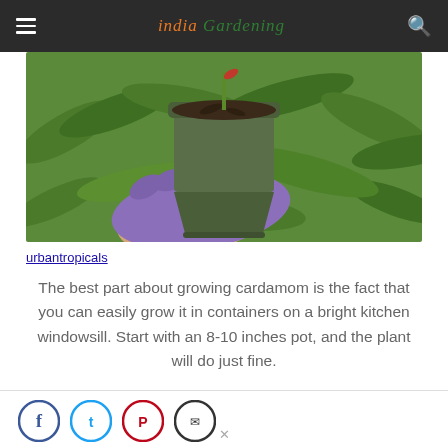India Gardening
[Figure (photo): A gloved hand (purple disposable glove) holding a green pot with soil and a cardamom plant, surrounded by lush green tropical foliage in the background.]
urbantropicals
The best part about growing cardamom is the fact that you can easily grow it in containers on a bright kitchen windowsill. Start with an 8-10 inches pot, and the plant will do just fine.
[Figure (other): Social sharing icons row: Facebook (blue circle), Twitter/X (light blue circle), Pinterest (red circle), and another icon (dark circle)]